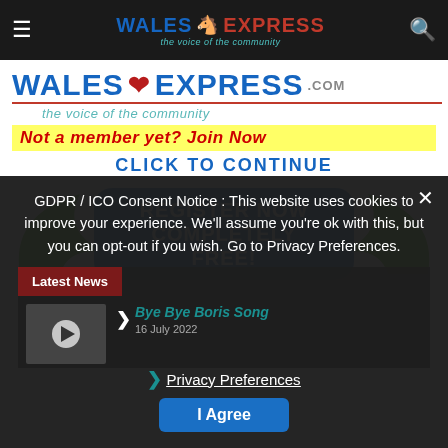Wales Express - the voice of the community
[Figure (logo): Wales Express logo with red dragon and tagline 'the voice of the community']
[Figure (infographic): Wales Express membership registration banner: 'Not a member yet? Join Now', 'CLICK TO CONTINUE', 'REGISTER NOW COMPLETELY FREE!' with green horns graphic and blue rounded button]
GDPR / ICO Consent Notice : This website uses cookies to improve your experience. We'll assume you're ok with this, but you can opt-out if you wish. Go to Privacy Preferences.
Privacy Preferences
I Agree
Latest News
Bye Bye Boris Song
16 July 2022